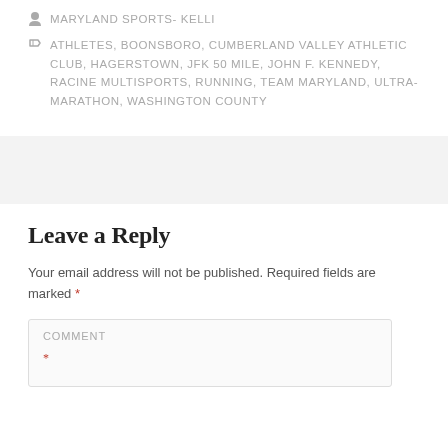MARYLAND SPORTS- KELLI
ATHLETES, BOONSBORO, CUMBERLAND VALLEY ATHLETIC CLUB, HAGERSTOWN, JFK 50 MILE, JOHN F. KENNEDY, RACINE MULTISPORTS, RUNNING, TEAM MARYLAND, ULTRA-MARATHON, WASHINGTON COUNTY
Leave a Reply
Your email address will not be published. Required fields are marked *
COMMENT *